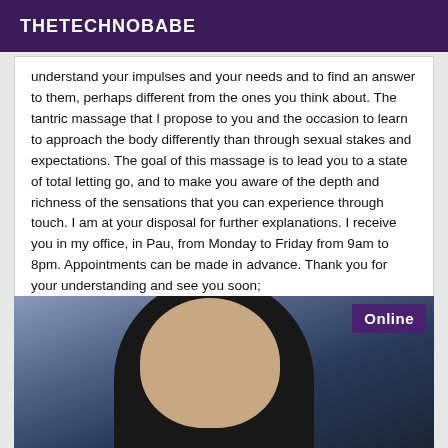THETECHNOBABE
understand your impulses and your needs and to find an answer to them, perhaps different from the ones you think about. The tantric massage that I propose to you and the occasion to learn to approach the body differently than through sexual stakes and expectations. The goal of this massage is to lead you to a state of total letting go, and to make you aware of the depth and richness of the sensations that you can experience through touch. I am at your disposal for further explanations. I receive you in my office, in Pau, from Monday to Friday from 9am to 8pm. Appointments can be made in advance. Thank you for your understanding and see you soon;
[Figure (photo): Portrait photo of a person with dark hair, blurred background. An 'Online' badge is shown in the top-right corner of the photo.]